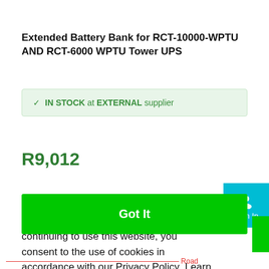Extended Battery Bank for RCT-10000-WPTU AND RCT-6000 WPTU Tower UPS
✓ IN STOCK at EXTERNAL supplier
R9,012
We use cookies to offer you a better user experience and analyse site traffic. By continuing to use this website, you consent to the use of cookies in accordance with our Privacy Policy  Learn More
Got It
Sign In
Road